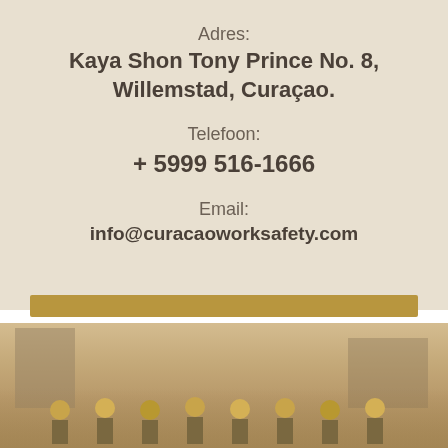Adres:
Kaya Shon Tony Prince No. 8,
Willemstad, Curaçao.
Telefoon:
+ 5999 516-1666
Email:
info@curacaoworksafety.com
[Figure (photo): A sepia-toned photograph showing workers in hard hats standing in front of an industrial building or facility.]